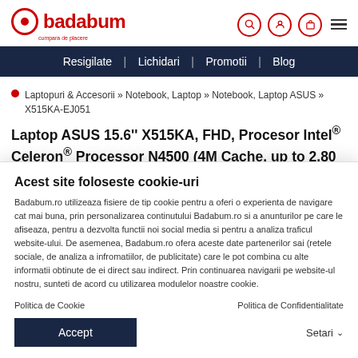badabum - cumpara de placere
Resigilate | Lichidari | Promotii | Blog
Laptopuri & Accesorii » Notebook, Laptop » Notebook, Laptop ASUS » X515KA-EJ051
Laptop ASUS 15.6'' X515KA, FHD, Procesor Intel® Celeron® Processor N4500 (4M Cache, up to 2.80 GHz), 4GB DDR4, 256GB SSD, GMA UHD, No OS
Acest site foloseste cookie-uri
Badabum.ro utilizeaza fisiere de tip cookie pentru a oferi o experienta de navigare cat mai buna, prin personalizarea continutului Badabum.ro si a anunturilor pe care le afiseaza, pentru a dezvolta functii noi social media si pentru a analiza traficul website-ului. De asemenea, Badabum.ro ofera aceste date partenerilor sai (retele sociale, de analiza a infromatiilor, de publicitate) care le pot combina cu alte informatii obtinute de ei direct sau indirect. Prin continuarea navigarii pe website-ul nostru, sunteti de acord cu utilizarea modulelor noastre cookie.
Politica de Cookie
Politica de Confidentialitate
Accept
Setari